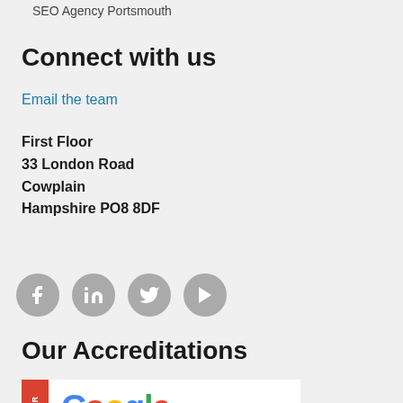SEO Agency Portsmouth
Connect with us
Email the team
First Floor
33 London Road
Cowplain
Hampshire PO8 8DF
[Figure (infographic): Four circular social media icons (Facebook, LinkedIn, Twitter, YouTube) in grey circles arranged horizontally]
Our Accreditations
[Figure (logo): Google partner accreditation badge with red vertical bar on left side labeled MIER and Google logo in multicolor text]